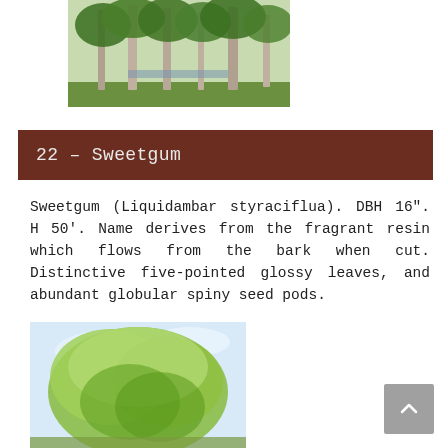[Figure (photo): Photograph of trees with tall trunks and green canopy in a park-like setting]
22 – Sweetgum
Sweetgum (Liquidambar styraciflua). DBH 16". H 50'. Name derives from the fragrant resin which flows from the bark when cut. Distinctive five-pointed glossy leaves, and abundant globular spiny seed pods.
[Figure (photo): Photograph of a sweetgum tree with light green leafy canopy against a blue sky]